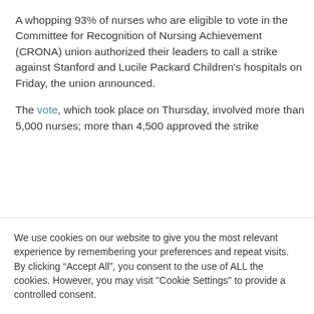A whopping 93% of nurses who are eligible to vote in the Committee for Recognition of Nursing Achievement (CRONA) union authorized their leaders to call a strike against Stanford and Lucile Packard Children's hospitals on Friday, the union announced.

The vote, which took place on Thursday, involved more than 5,000 nurses; more than 4,500 approved the strike
We use cookies on our website to give you the most relevant experience by remembering your preferences and repeat visits. By clicking “Accept All”, you consent to the use of ALL the cookies. However, you may visit "Cookie Settings" to provide a controlled consent.